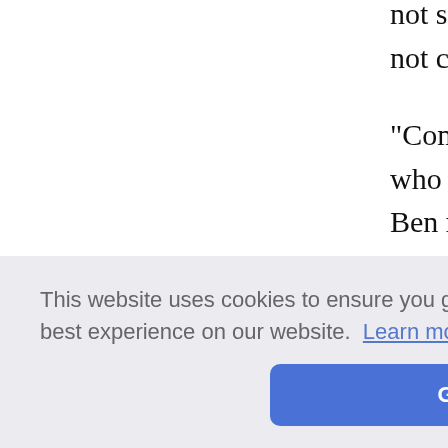not so much room for a change in your not comprehend.
"Come in, come in," said Frank, and he who were rather surprised to see him. Ben responded in a manner that evidenc
"Where do you live?" she asked.
"I am now at school in Andover."
"Ah! you have better advantages than th
"And I hope I improve them better than e many r
hool?" in
there."
You do? Then you are going to have
This website uses cookies to ensure you get the best experience on our website. Learn more
Got it!